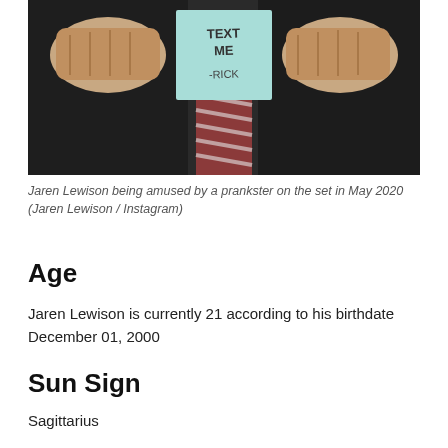[Figure (photo): A person in a suit and striped tie holds up a light blue sticky note that reads 'TEXT ME -RICK' toward the camera.]
Jaren Lewison being amused by a prankster on the set in May 2020 (Jaren Lewison / Instagram)
Age
Jaren Lewison is currently 21 according to his birthdate December 01, 2000
Sun Sign
Sagittarius
Born Place
United States